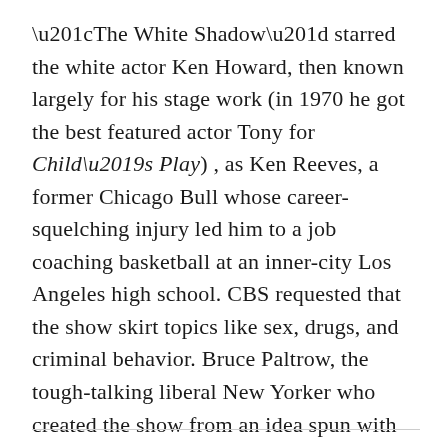“The White Shadow” starred the white actor Ken Howard, then known largely for his stage work (in 1970 he got the best featured actor Tony for Child’s Play) , as Ken Reeves, a former Chicago Bull whose career-squelching injury led him to a job coaching basketball at an inner-city Los Angeles high school. CBS requested that the show skirt topics like sex, drugs, and criminal behavior. Bruce Paltrow, the tough-talking liberal New Yorker who created the show from an idea spun with Howard, threw CBS a bone—an occasional scene of the Carver basketball team’s wholesome, “Glee”-flavored a cappella sings in the locker room shower—and then proceeded to ignore everything the network said.